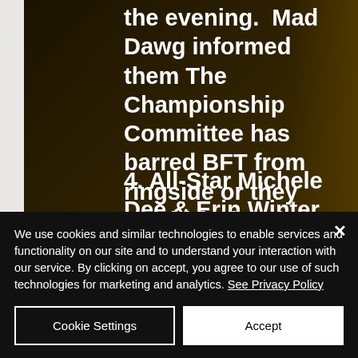the evening. Mad Dawg informed them The Championship Committee has barred BFT from ringside or they would forfeit their Tag Team Titles.
4. All-Star Michele Dee & Erin Winter defeated The Weasel and Varla Rey in a mixed tag team match.
5. Master of Chaos Kevin Knight and International Icon Galindo of BLUNT FORCE TRAUMA fought to a double count-out.
We use cookies and similar technologies to enable services and functionality on our site and to understand your interaction with our service. By clicking on accept, you agree to our use of such technologies for marketing and analytics. See Privacy Policy